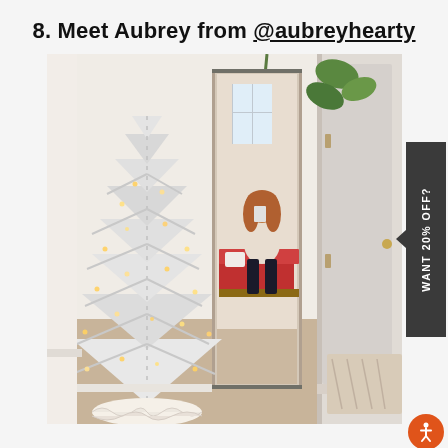8. Meet Aubrey from @aubreyhearty
[Figure (photo): Room photo showing a white flocked Christmas tree on the left, a tall full-length mirror in the center, a woman with red hair sitting on a red bed taking a mirror selfie visible in the reflection, climbing green plant on the wall, beige carpet floor, white walls, light from window in the background.]
WANT 20% OFF?